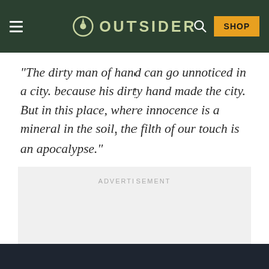OUTSIDER
“The dirty man of hand can go unnoticed in a city. because his dirty hand made the city. But in this place, where innocence is a mineral in the soil, the filth of our touch is an apocalypse.”
[Figure (other): Advertisement placeholder box with light gray background and ADVERTISEMENT label text]